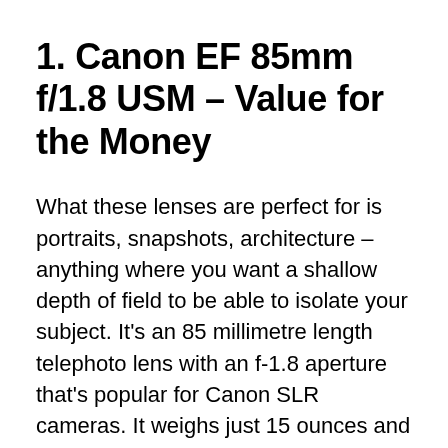1. Canon EF 85mm f/1.8 USM – Value for the Money
What these lenses are perfect for is portraits, snapshots, architecture – anything where you want a shallow depth of field to be able to isolate your subject. It's an 85 millimetre length telephoto lens with an f-1.8 aperture that's popular for Canon SLR cameras. It weighs just 15 ounces and gives you close-up images at 2.8 feet.
Features: Sale Canon EF 85mm f/1.8 USM High-performance normal to short telephoto lens with superb delineation and portability